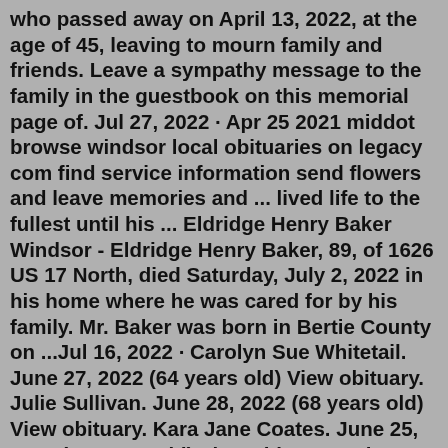who passed away on April 13, 2022, at the age of 45, leaving to mourn family and friends. Leave a sympathy message to the family in the guestbook on this memorial page of. Jul 27, 2022 · Apr 25 2021 middot browse windsor local obituaries on legacy com find service information send flowers and leave memories and ... lived life to the fullest until his ... Eldridge Henry Baker Windsor - Eldridge Henry Baker, 89, of 1626 US 17 North, died Saturday, July 2, 2022 in his home where he was cared for by his family. Mr. Baker was born in Bertie County on ...Jul 16, 2022 · Carolyn Sue Whitetail. June 27, 2022 (64 years old) View obituary. Julie Sullivan. June 28, 2022 (68 years old) View obituary. Kara Jane Coates. June 25, 2022 (57 years old) View obituary. Jul 12, 2015 · View most recent obituaries published on the Web by funeral homes on website Windsor Chapel Funeral Homes. More than 450 new Canadian obituaries add each day. VICTORIA/GREENLAWN MEMORIAL CHAPEL. The funeral service is an important point of closure for those who have suffered a recent loss.